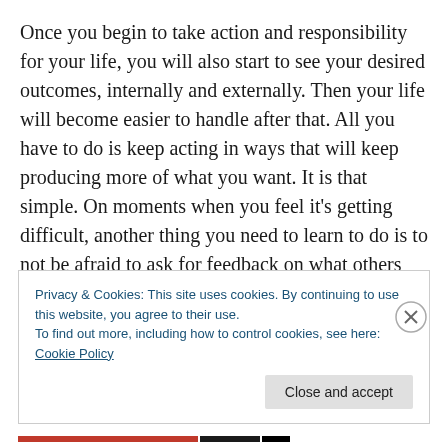Once you begin to take action and responsibility for your life, you will also start to see your desired outcomes, internally and externally. Then your life will become easier to handle after that. All you have to do is keep acting in ways that will keep producing more of what you want. It is that simple. On moments when you feel it's getting difficult, another thing you need to learn to do is to not be afraid to ask for feedback on what others think you are doing wrong. “The truth is the truth.” Once you know this, then you can do something about it to create your desired results.
Privacy & Cookies: This site uses cookies. By continuing to use this website, you agree to their use.
To find out more, including how to control cookies, see here: Cookie Policy